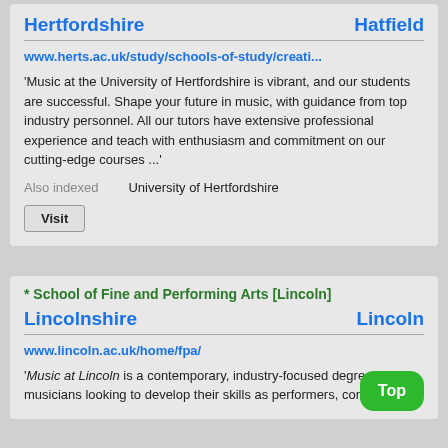Hertfordshire | Hatfield
www.herts.ac.uk/study/schools-of-study/creati...
'Music at the University of Hertfordshire is vibrant, and our students are successful. Shape your future in music, with guidance from top industry personnel. All our tutors have extensive professional experience and teach with enthusiasm and commitment on our cutting-edge courses ...'
Also indexed   University of Hertfordshire
Visit
* School of Fine and Performing Arts [Lincoln]
Lincolnshire | Lincoln
www.lincoln.ac.uk/home/fpa/
'Music at Lincoln is a contemporary, industry-focused degree for musicians looking to develop their skills as performers, composers